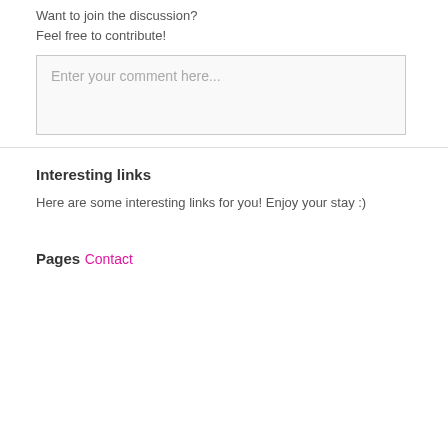Want to join the discussion?
Feel free to contribute!
[Figure (other): Comment input text box with placeholder text 'Enter your comment here...']
Interesting links
Here are some interesting links for you! Enjoy your stay :)
Pages
Contact